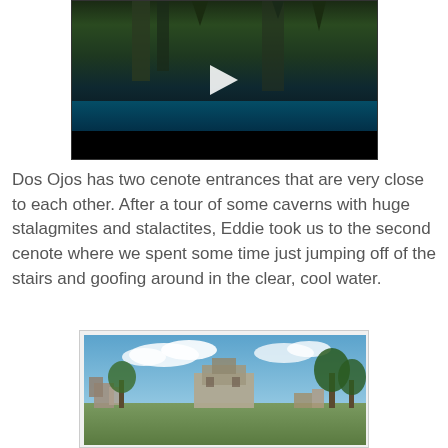[Figure (photo): Video thumbnail of a cenote cave with dark green cave walls, stalactites, teal water, and people swimming. A white play button triangle is centered on the image. The bottom portion is very dark/black.]
Dos Ojos has two cenote entrances that are very close to each other.  After a tour of some caverns with huge stalagmites and stalactites,  Eddie took us to the second cenote where we spent some time just jumping off of the stairs and goofing around in the clear, cool water.
[Figure (photo): Photograph of Mayan ruins (Tulum archaeological site) showing ancient stone structures on a grassy field with trees, under a partly cloudy blue sky.]